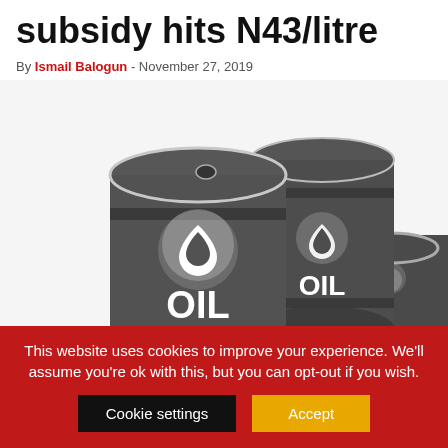subsidy hits N43/litre
By Ismail Balogun - November 27, 2019
[Figure (photo): Three dark grey oil barrels with white oil drop icons and 'OIL' text printed on them, arranged with one upright in foreground, one upright in background center, and one on its side to the right.]
This website uses cookies to improve your experience. We'll assume you're ok with this, but you can opt-out if you wish.